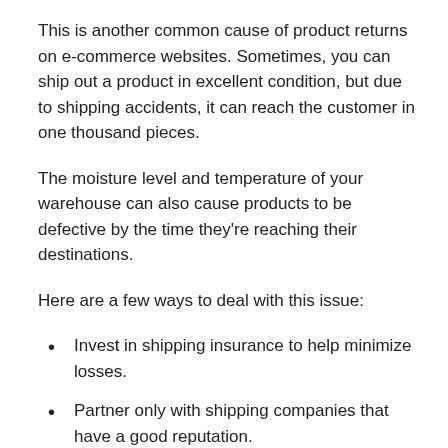This is another common cause of product returns on e-commerce websites. Sometimes, you can ship out a product in excellent condition, but due to shipping accidents, it can reach the customer in one thousand pieces.
The moisture level and temperature of your warehouse can also cause products to be defective by the time they're reaching their destinations.
Here are a few ways to deal with this issue:
Invest in shipping insurance to help minimize losses.
Partner only with shipping companies that have a good reputation.
Package all your merchandise properly and carefully before shipping them to the customers.